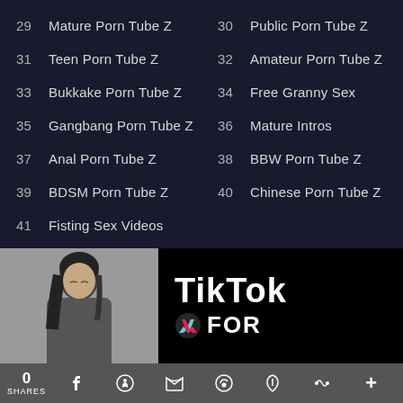29  Mature Porn Tube Z
30  Public Porn Tube Z
31  Teen Porn Tube Z
32  Amateur Porn Tube Z
33  Bukkake Porn Tube Z
34  Free Granny Sex
35  Gangbang Porn Tube Z
36  Mature Intros
37  Anal Porn Tube Z
38  BBW Porn Tube Z
39  BDSM Porn Tube Z
40  Chinese Porn Tube Z
41  Fisting Sex Videos
[Figure (photo): TikTok advertisement banner with a woman's photo on the left and TikTok logo with text FOR on the right]
0 SHARES  f  reddit  twitter  whatsapp  tumblr  link  +